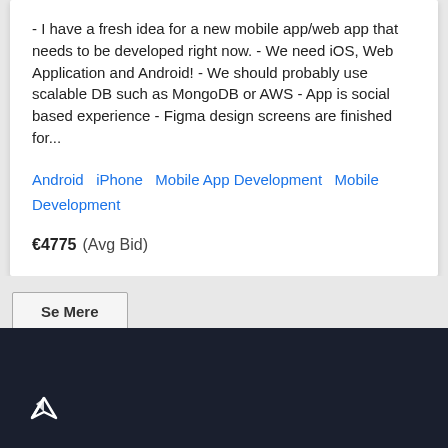- I have a fresh idea for a new mobile app/web app that needs to be developed right now. - We need iOS, Web Application and Android! - We should probably use scalable DB such as MongoDB or AWS - App is social based experience - Figma design screens are finished for...
Android   iPhone   Mobile App Development   Mobile Development
€4775  (Avg Bid)
Se Mere